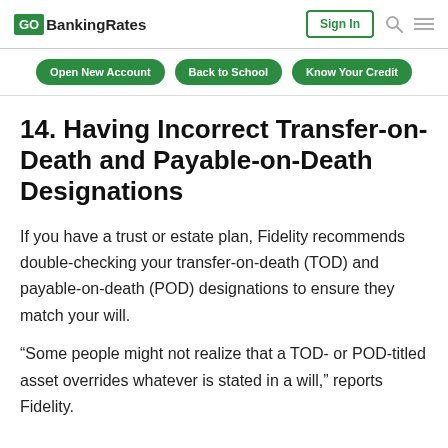GOBankingRates | Sign In | [search] [menu]
Open New Account | Back to School | Know Your Credit
14. Having Incorrect Transfer-on-Death and Payable-on-Death Designations
If you have a trust or estate plan, Fidelity recommends double-checking your transfer-on-death (TOD) and payable-on-death (POD) designations to ensure they match your will.
“Some people might not realize that a TOD- or POD-titled asset overrides whatever is stated in a will,” reports Fidelity.